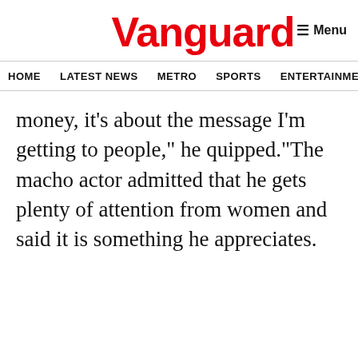Vanguard
HOME  LATEST NEWS  METRO  SPORTS  ENTERTAINMENT  VIDEOS
money, it’s about the message I’m getting to people,” he quipped.“The macho actor admitted that he gets plenty of attention from women and said it is something he appreciates.